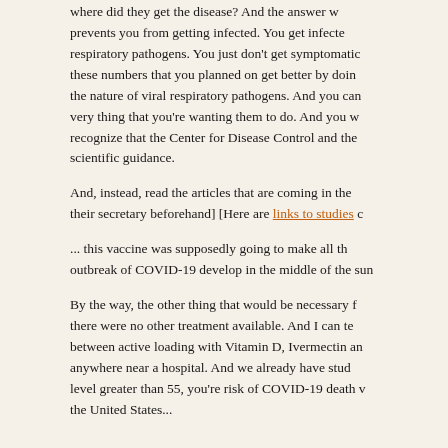where did they get the disease? And the answer w... prevents you from getting infected. You get infecte... respiratory pathogens. You just don't get symptomatic... these numbers that you planned on get better by doin... the nature of viral respiratory pathogens. And you can... very thing that you're wanting them to do. And you w... recognize that the Center for Disease Control and the... scientific guidance.
And, instead, read the articles that are coming in the... their secretary beforehand] [Here are links to studies c...
... this vaccine was supposedly going to make all th... outbreak of COVID-19 develop in the middle of the sun...
By the way, the other thing that would be necessary f... there were no other treatment available. And I can te... between active loading with Vitamin D, Ivermectin an... anywhere near a hospital. And we already have stud... level greater than 55, you're risk of COVID-19 death v... the United States...